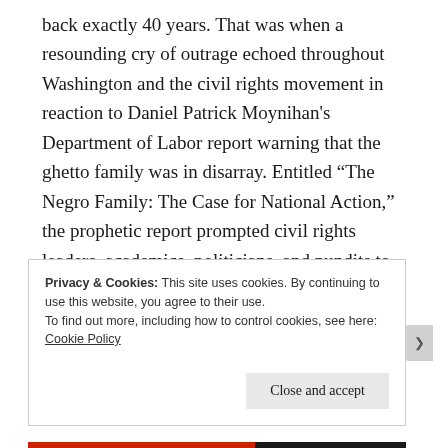back exactly 40 years. That was when a resounding cry of outrage echoed throughout Washington and the civil rights movement in reaction to Daniel Patrick Moynihan's Department of Labor report warning that the ghetto family was in disarray. Entitled “The Negro Family: The Case for National Action,” the prophetic report prompted civil rights leaders, academics, politicians, and pundits to make a momentous—and, as time has shown, tragically wrong—decision about how to frame the national discussion about poverty.
Privacy & Cookies: This site uses cookies. By continuing to use this website, you agree to their use.
To find out more, including how to control cookies, see here: Cookie Policy